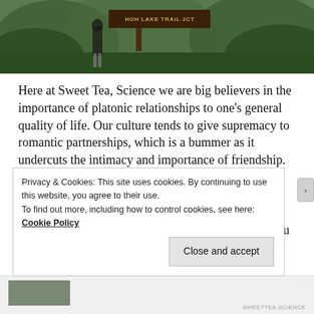[Figure (photo): Outdoor trail sign photo with 'HOH LAKE TRAIL JCT' sign, person standing beside it, green foliage background]
Here at Sweet Tea, Science we are big believers in the importance of platonic relationships to one’s general quality of life. Our culture tends to give supremacy to romantic partnerships, which is a bummer as it undercuts the intimacy and importance of friendship. We think meaningful friendships are extra important during the graduate school journey. It’s a long haul, and it’s important to have a network of support you can rely on to pep you up, cheer you on, and help you
Privacy & Cookies: This site uses cookies. By continuing to use this website, you agree to their use.
To find out more, including how to control cookies, see here: Cookie Policy
Close and accept